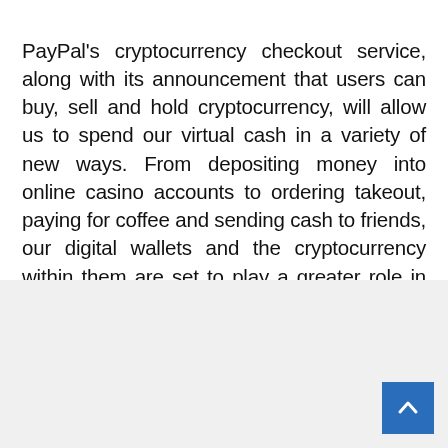PayPal's cryptocurrency checkout service, along with its announcement that users can buy, sell and hold cryptocurrency, will allow us to spend our virtual cash in a variety of new ways. From depositing money into online casino accounts to ordering takeout, paying for coffee and sending cash to friends, our digital wallets and the cryptocurrency within them are set to play a greater role in the way we shop. Cryptocurrency's rise in popularity could also lead to greater financial equality in the U.S. and could boost struggling businesses across the country.